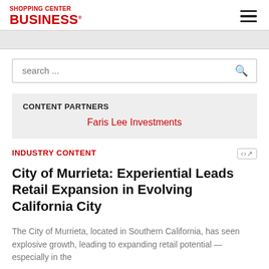SHOPPING CENTER BUSINESS
search ...
CONTENT PARTNERS
Faris Lee Investments
INDUSTRY CONTENT
City of Murrieta: Experiential Leads Retail Expansion in Evolving California City
The City of Murrieta, located in Southern California, has seen explosive growth, leading to expanding retail potential — especially in the